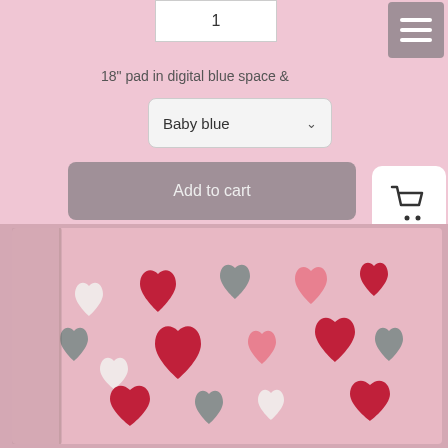1
18" pad in digital blue space &
Baby blue
Add to cart
[Figure (photo): A folded fabric pad with a pink background covered in heart patterns in red, dark pink, grey, and white colors.]